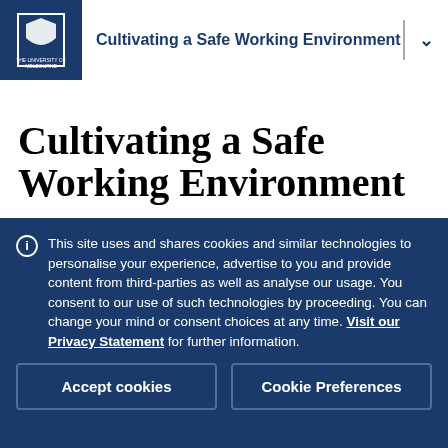Cultivating a Safe Working Environment
Cultivating a Safe Working Environment
This site uses and shares cookies and similar technologies to personalise your experience, advertise to you and provide content from third-parties as well as analyse our usage. You consent to our use of such technologies by proceeding. You can change your mind or consent choices at any time. Visit our Privacy Statement for further information.
Accept cookies
Cookie Preferences